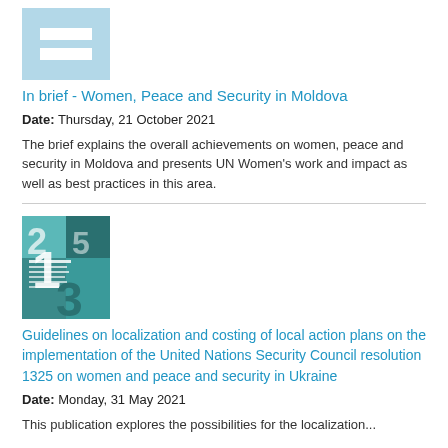[Figure (logo): UN Women logo — light blue square with two white horizontal bars (equals sign)]
In brief - Women, Peace and Security in Moldova
Date: Thursday, 21 October 2021
The brief explains the overall achievements on women, peace and security in Moldova and presents UN Women's work and impact as well as best practices in this area.
[Figure (illustration): Cover of a publication with teal/dark green geometric blocks and large numerals 1325, with white text in Cyrillic/Ukrainian script]
Guidelines on localization and costing of local action plans on the implementation of the United Nations Security Council resolution 1325 on women and peace and security in Ukraine
Date: Monday, 31 May 2021
This publication explores the possibilities for the localization...